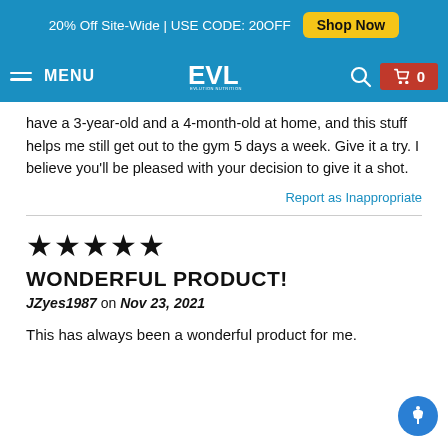20% Off Site-Wide | USE CODE: 20OFF  Shop Now
MENU  EVL Evolution Nutrition  0
have a 3-year-old and a 4-month-old at home, and this stuff helps me still get out to the gym 5 days a week. Give it a try. I believe you'll be pleased with your decision to give it a shot.
Report as Inappropriate
★★★★★
WONDERFUL PRODUCT!
JZyes1987 on Nov 23, 2021
This has always been a wonderful product for me.